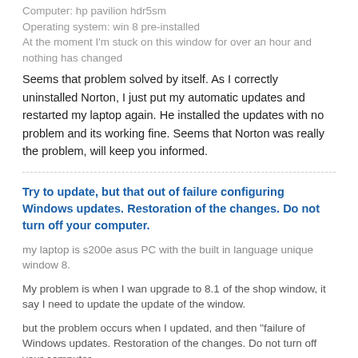Computer: hp pavilion hdr5sm
Operating system: win 8 pre-installed
At the moment I'm stuck on this window for over an hour and nothing has changed
Seems that problem solved by itself. As I correctly uninstalled Norton, I just put my automatic updates and restarted my laptop again. He installed the updates with no problem and its working fine. Seems that Norton was really the problem, will keep you informed.
Try to update, but that out of failure configuring Windows updates. Restoration of the changes. Do not turn off your computer.
my laptop is s200e asus PC with the built in language unique window 8.
My problem is when I wan upgrade to 8.1 of the shop window, it say I need to update the update of the window.
but the problem occurs when I updated, and then "failure of Windows updates. Restoration of the changes. Do not turn off your computer. »
but the return is seem endless, coz I wait for a whole day... .but it will be not just finish.
I can do nothing but reset it back to the factory.
I can't update 8.1 store window without updating the window.
You do not add features to upgrade 8 > 8.1